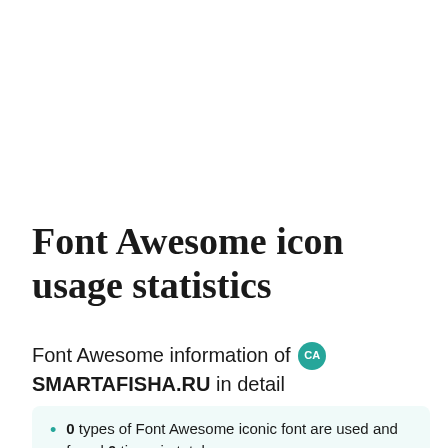Font Awesome icon usage statistics
Font Awesome information of CA SMARTAFISHA.RU in detail
0 types of Font Awesome iconic font are used and found 0 times in total.
SMARTAFISHA.RU used 0 Font Awesome classes per